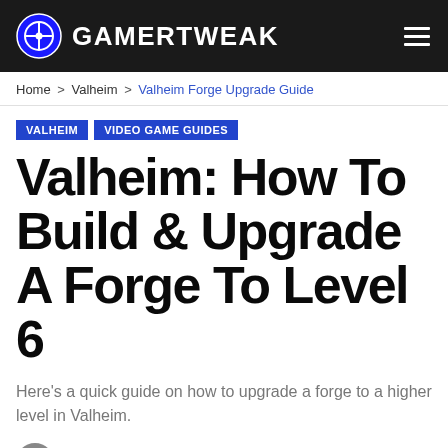GAMERTWEAK
Home > Valheim > Valheim Forge Upgrade Guide
VALHEIM | VIDEO GAME GUIDES
Valheim: How To Build & Upgrade A Forge To Level 6
Here's a quick guide on how to upgrade a forge to a higher level in Valheim.
By Eddy Robert — Last updated Feb 16, 2021